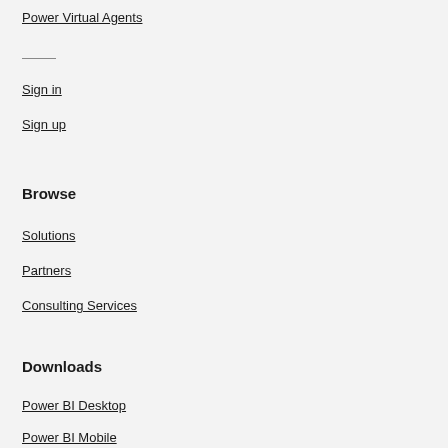Power Virtual Agents
Sign in
Sign up
Browse
Solutions
Partners
Consulting Services
Downloads
Power BI Desktop
Power BI Mobile
Power BI Report Server